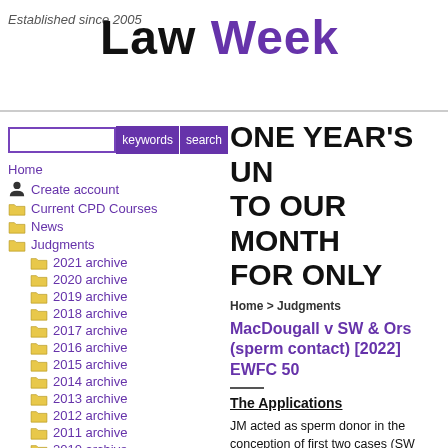Law Week — Established since 2005
ONE YEAR'S UN- TO OUR MONTH- FOR ONLY
Home
Create account
Current CPD Courses
News
Judgments
2021 archive
2020 archive
2019 archive
2018 archive
2017 archive
2016 archive
2015 archive
2014 archive
2013 archive
2012 archive
2011 archive
2010 archive
2009 archive
2008 archive
Home > Judgments
MacDougall v SW & Ors (sperm contact) [2022] EWFC 50
The Applications
JM acted as sperm donor in the conception of first two cases (SW and EG) JM had applie and child arrangements orders (CAOs) for the mother of two children, R aged 3, and R
In the third case (KE), the mother applied t molestation order (NMO), and JM had app a differed in its facts because the child